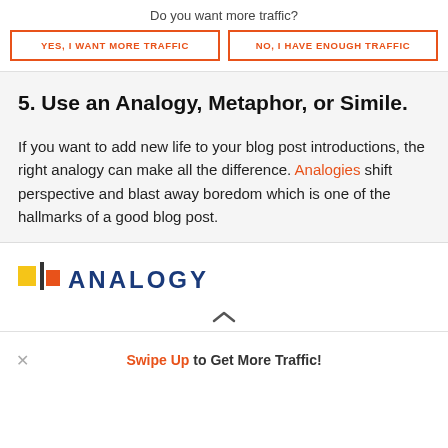Do you want more traffic?
YES, I WANT MORE TRAFFIC
NO, I HAVE ENOUGH TRAFFIC
5. Use an Analogy, Metaphor, or Simile.
If you want to add new life to your blog post introductions, the right analogy can make all the difference. Analogies shift perspective and blast away boredom which is one of the hallmarks of a good blog post.
[Figure (logo): ANALOGY logo with yellow and orange squares and vertical bar, blue uppercase text]
Swipe Up to Get More Traffic!